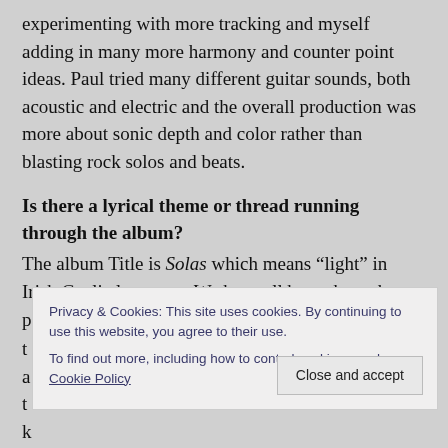experimenting with more tracking and myself adding in many more harmony and counter point ideas. Paul tried many different guitar sounds, both acoustic and electric and the overall production was more about sonic depth and color rather than blasting rock solos and beats.
Is there a lyrical theme or thread running through the album?
The album Title is Solas which means “light” in Irish Gaelic language. We have all been through personal battles over the... a... the... k...
Privacy & Cookies: This site uses cookies. By continuing to use this website, you agree to their use.
To find out more, including how to control cookies, see here: Cookie Policy